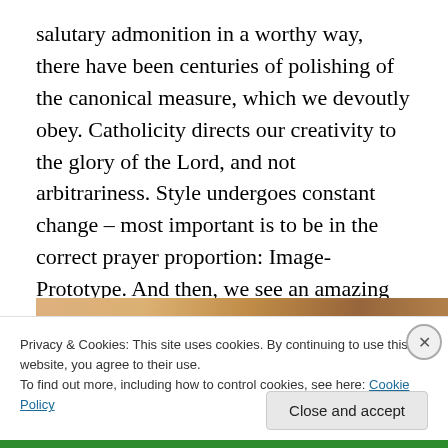salutary admonition in a worthy way, there have been centuries of polishing of the canonical measure, which we devoutly obey. Catholicity directs our creativity to the glory of the Lord, and not arbitrariness. Style undergoes constant change – most important is to be in the correct prayer proportion: Image-Prototype. And then, we see an amazing variety of fixations of the mysteries in our faith and church history with the glorification of the hordes of saints. The iconographic mail letter is like handwriting: there are individual traits, there are historically-national
[Figure (photo): Partial view of image strip showing warm brown and orange tones, possibly depicting wooden or religious objects]
Privacy & Cookies: This site uses cookies. By continuing to use this website, you agree to their use.
To find out more, including how to control cookies, see here: Cookie Policy